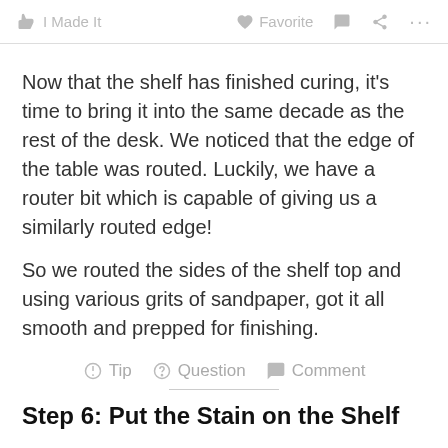I Made It   Favorite   Comment   Share   ...
Now that the shelf has finished curing, it's time to bring it into the same decade as the rest of the desk. We noticed that the edge of the table was routed. Luckily, we have a router bit which is capable of giving us a similarly routed edge!
So we routed the sides of the shelf top and using various grits of sandpaper, got it all smooth and prepped for finishing.
Tip   Question   Comment
Step 6: Put the Stain on the Shelf